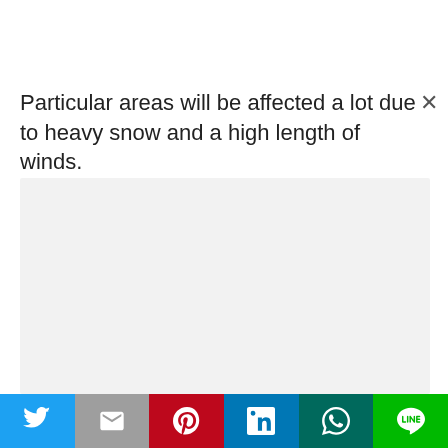Particular areas will be affected a lot due to heavy snow and a high length of winds.
[Figure (other): Light gray placeholder content box]
[Figure (infographic): Social sharing bar with Twitter, Gmail, Pinterest, LinkedIn, WhatsApp, and LINE buttons]